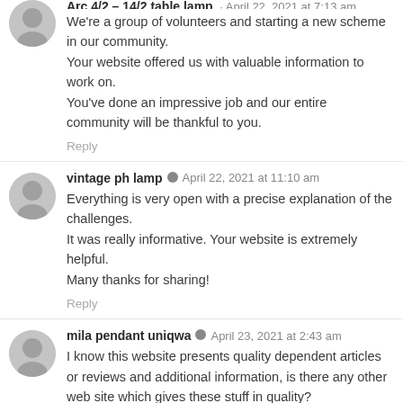We're a group of volunteers and starting a new scheme in our community. Your website offered us with valuable information to work on. You've done an impressive job and our entire community will be thankful to you.
Reply
vintage ph lamp · April 22, 2021 at 11:10 am
Everything is very open with a precise explanation of the challenges. It was really informative. Your website is extremely helpful. Many thanks for sharing!
Reply
mila pendant uniqwa · April 23, 2021 at 2:43 am
I know this website presents quality dependent articles or reviews and additional information, is there any other web site which gives these stuff in quality?
Reply